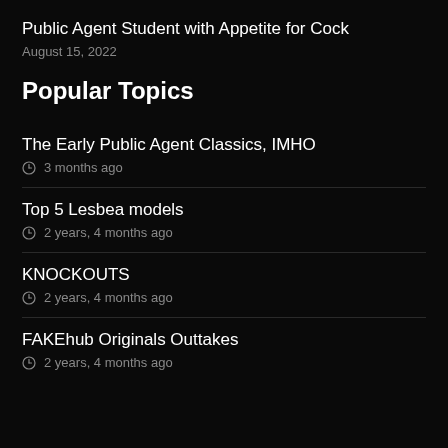Public Agent Student with Appetite for Cock
August 15, 2022
Popular Topics
The Early Public Agent Classics, IMHO
3 months ago
Top 5 Lesbea models
2 years, 4 months ago
KNOCKOUTS
2 years, 4 months ago
FAKEhub Originals Outtakes
2 years, 4 months ago